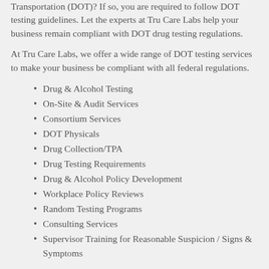Transportation (DOT)? If so, you are required to follow DOT testing guidelines. Let the experts at Tru Care Labs help your business remain compliant with DOT drug testing regulations.
At Tru Care Labs, we offer a wide range of DOT testing services to make your business be compliant with all federal regulations.
Drug & Alcohol Testing
On-Site & Audit Services
Consortium Services
DOT Physicals
Drug Collection/TPA
Drug Testing Requirements
Drug & Alcohol Policy Development
Workplace Policy Reviews
Random Testing Programs
Consulting Services
Supervisor Training for Reasonable Suspicion / Signs & Symptoms